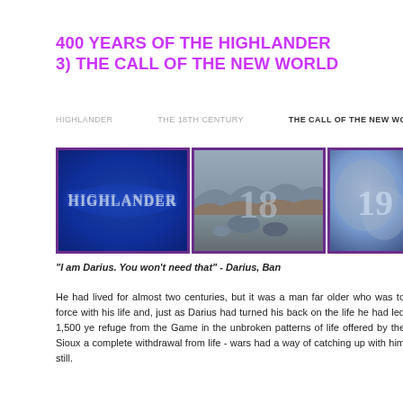400 YEARS OF THE HIGHLANDER
3) THE CALL OF THE NEW WORLD
HIGHLANDER   THE 18TH CENTURY   THE CALL OF THE NEW WO...
[Figure (photo): Three video stills in a row: (1) Blue background with stylized 'HIGHLANDER' text logo; (2) Rocky landscape/riverscape scene with large '18' watermark overlay; (3) Blue blurred scene with '19' watermark overlay.]
"I am Darius. You won't need that" - Darius, Ban...
He had lived for almost two centuries, but it was a man far older who was to force with his life and, just as Darius had turned his back on the life he had led 1,500 ye refuge from the Game in the unbroken patterns of life offered by the Sioux a complete withdrawal from life - wars had a way of catching up with him still.